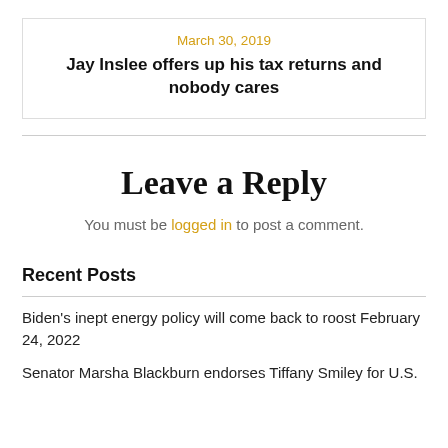March 30, 2019
Jay Inslee offers up his tax returns and nobody cares
Leave a Reply
You must be logged in to post a comment.
Recent Posts
Biden’s inept energy policy will come back to roost February 24, 2022
Senator Marsha Blackburn endorses Tiffany Smiley for U.S.